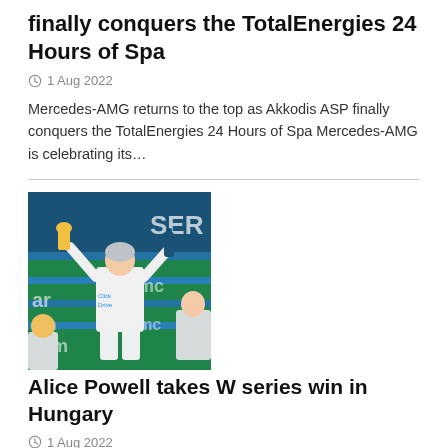finally conquers the TotalEnergies 24 Hours of Spa
1 Aug 2022
Mercedes-AMG returns to the top as Akkodis ASP finally conquers the TotalEnergies 24 Hours of Spa Mercedes-AMG is celebrating its…
[Figure (photo): Racing driver on podium holding trophy and champagne bottle, wearing white racing suit with Click2Drive branding, green banner background with 'aramco' text]
Alice Powell takes W series win in Hungary
1 Aug 2022
Alice Powell (Click2Drive Bristol Street Motors Racing W Series Team, 29, UK) held off Jamie Chadwick (Jenner